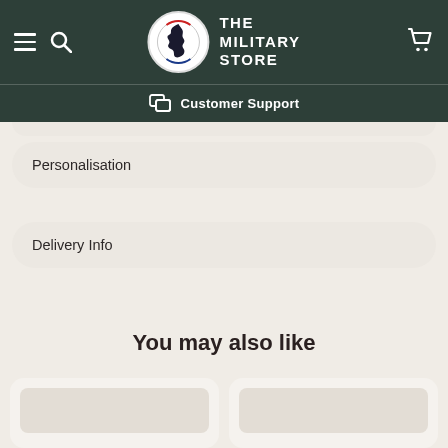THE MILITARY STORE
Customer Support
Personalisation
Delivery Info
You may also like